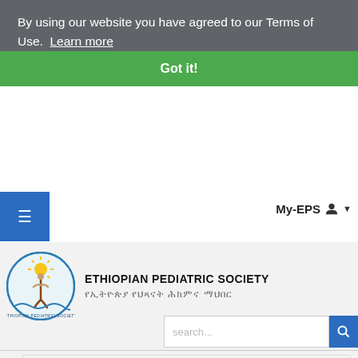By using our website you have agreed to our Terms of Use.  Learn more
Got it!
≡
My-EPS
[Figure (logo): Ethiopian Pediatric Society circular logo with a figure and sun]
ETHIOPIAN PEDIATRIC SOCIETY
የኢትዮጵያ የህጻናት ሕክምና ማህበር
search...
Home / Links / Video